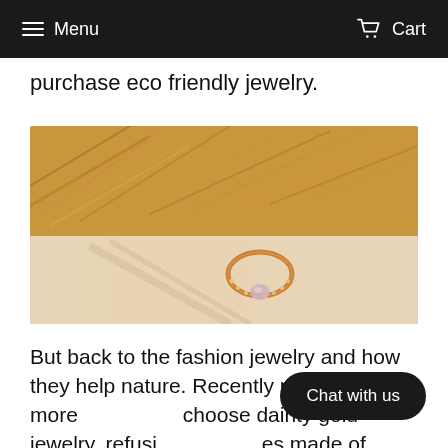Menu    Cart
purchase eco friendly jewelry.
[Figure (photo): A rose gold ring with small diamonds and a central oval gemstone, photographed on a light surface with dried golden pampas grass in the background.]
But back to the fashion jewelry and how they help nature. Recently more and more choose dainty gold jewelry, refusing es made of plastic, and even quite expensive